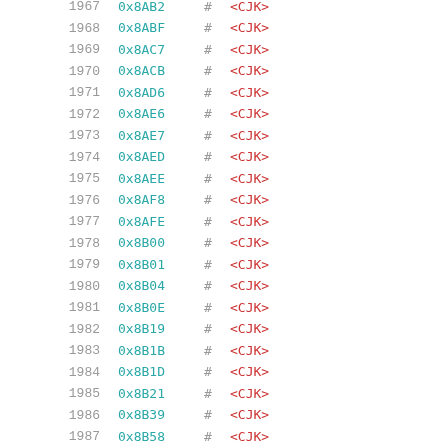| Index | Hex | # | Name |
| --- | --- | --- | --- |
| 1967 | 0x8AB2 | # | <CJK> |
| 1968 | 0x8ABF | # | <CJK> |
| 1969 | 0x8AC7 | # | <CJK> |
| 1970 | 0x8ACB | # | <CJK> |
| 1971 | 0x8AD6 | # | <CJK> |
| 1972 | 0x8AE6 | # | <CJK> |
| 1973 | 0x8AE7 | # | <CJK> |
| 1974 | 0x8AED | # | <CJK> |
| 1975 | 0x8AEE | # | <CJK> |
| 1976 | 0x8AF8 | # | <CJK> |
| 1977 | 0x8AFE | # | <CJK> |
| 1978 | 0x8B00 | # | <CJK> |
| 1979 | 0x8B01 | # | <CJK> |
| 1980 | 0x8B04 | # | <CJK> |
| 1981 | 0x8B0E | # | <CJK> |
| 1982 | 0x8B19 | # | <CJK> |
| 1983 | 0x8B1B | # | <CJK> |
| 1984 | 0x8B1D | # | <CJK> |
| 1985 | 0x8B21 | # | <CJK> |
| 1986 | 0x8B39 | # | <CJK> |
| 1987 | 0x8B58 | # | <CJK> |
| 1988 | 0x8B5C | # | <CJK> |